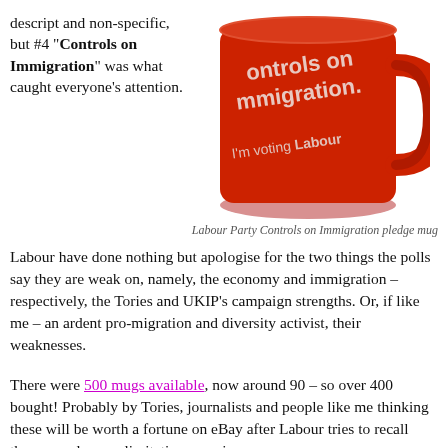descript and non-specific, but #4 "Controls on Immigration" was what caught everyone's attention.
[Figure (photo): Red Labour Party mug with text 'controls on immigration. I'm voting Labour' on it]
Labour Party Controls on Immigration pledge mug
Labour have done nothing but apologise for the two things the polls say they are weak on, namely, the economy and immigration – respectively, the Tories and UKIP's campaign strengths. Or, if like me – an ardent pro-migration and diversity activist, their weaknesses.
There were 500 mugs available, now around 90 – so over 400 bought! Probably by Tories, journalists and people like me thinking these will be worth a fortune on eBay after Labour tries to recall them as a damage limitation exercise.